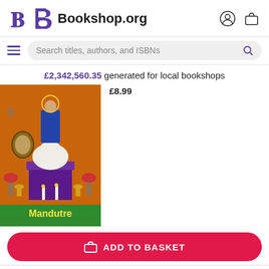Bookshop.org
Search titles, authors, and ISBNs
£2,342,560.35 generated for local bookshops
£8.99
[Figure (photo): Book cover for 'Mandutre' showing a colorful painting of a saint figure, a white dog, candles and flowers on an altar with orange background. Green banner at bottom reads 'Mandutre'.]
ADD TO BASKET
More than Just Race: Being Black and Poor in the Inner City